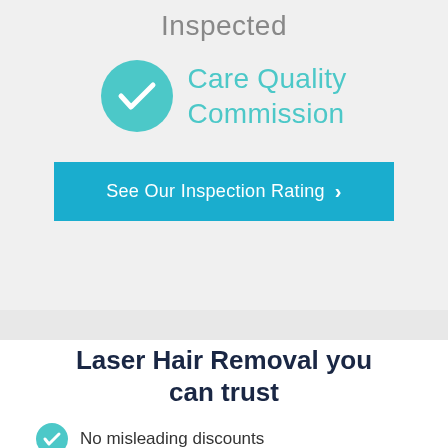Inspected
[Figure (logo): Care Quality Commission logo with teal checkmark circle and teal text reading Care Quality Commission]
[Figure (other): Blue button reading See Our Inspection Rating with chevron arrow]
Laser Hair Removal you can trust
No misleading discounts